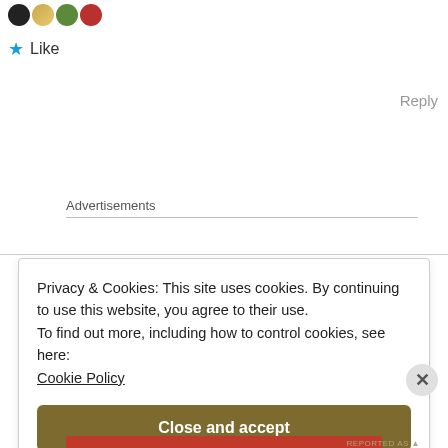[Figure (illustration): Row of four emoji/reaction icons: black circle, gold trophy/star icon, green heart, red heart]
★ Like
Reply
Advertisements
Privacy & Cookies: This site uses cookies. By continuing to use this website, you agree to their use.
To find out more, including how to control cookies, see here:
Cookie Policy
Close and accept